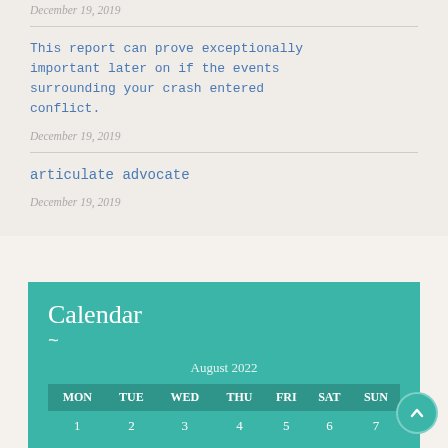December 19, 2019
This report can prove exceptionally important later on if the events surrounding your crash entered conflict.
December 19, 2019
articulate advocate
December 19, 2019
Calendar
| MON | TUE | WED | THU | FRI | SAT | SUN |
| --- | --- | --- | --- | --- | --- | --- |
| 1 | 2 | 3 | 4 | 5 | 6 | 7 |
| 8 | 9 | 10 | 11 | 12 | 13 | 14 |
| 15 | 16 | 17 | 18 | 19 | 20 | 21 |